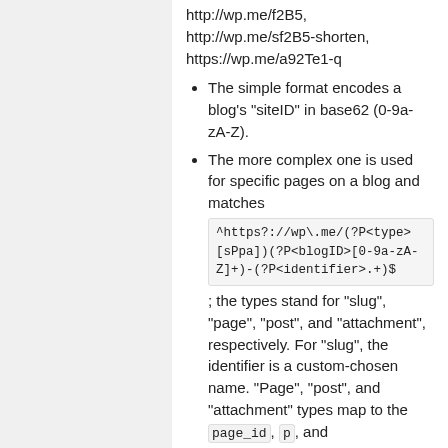http://wp.me/f2B5, http://wp.me/sf2B5-shorten, https://wp.me/a92Te1-q
The simple format encodes a blog's "siteID" in base62 (0-9a-zA-Z).
The more complex one is used for specific pages on a blog and matches ^https?://wp\.me/(?P<type>[sPpa])(?P<blogID>[0-9a-zA-Z]+)-(?P<identifier>.+)$ ; the types stand for "slug", "page", "post", and "attachment", respectively. For "slug", the identifier is a custom-chosen name. "Page", "post", and "attachment" types map to the page_id, p, and
page_id, p, and